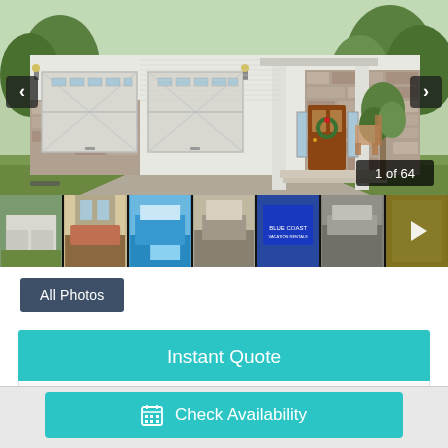[Figure (photo): Exterior photo of a large suburban home with white board-and-batten siding, stone accents, two-car garage with decorative X-panel doors, covered front porch with wreath on door, surrounded by landscaping. Navigation arrows on left and right. Badge showing '1 of 64'. Thumbnail strip below with 7 smaller property photos.]
All Photos
Instant Quote
Arriving
Check Availability